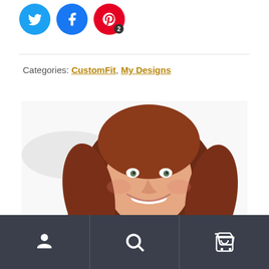[Figure (other): Row of three social share buttons: Twitter (blue bird), Facebook (blue f), Pinterest (red P with badge showing 2)]
Categories: CustomFit, My Designs
[Figure (photo): Portrait photo of a smiling woman with curly red/auburn hair against a white background]
Footer navigation bar with person icon, search icon, and shopping cart icon